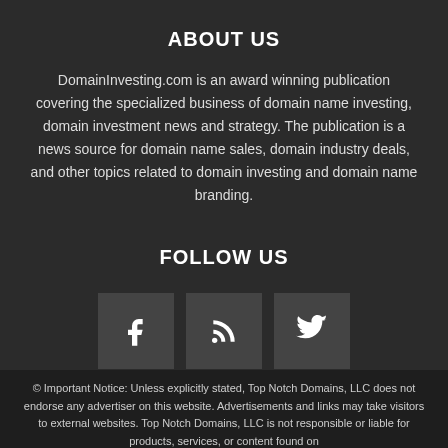ABOUT US
DomainInvesting.com is an award winning publication covering the specialized business of domain name investing, domain investment news and strategy. The publication is a news source for domain name sales, domain industry deals, and other topics related to domain investing and domain name branding.
FOLLOW US
[Figure (other): Three social media icon buttons: Facebook (f), RSS feed, and Twitter (bird icon)]
© Important Notice: Unless explicitly stated, Top Notch Domains, LLC does not endorse any advertiser on this website. Advertisements and links may take visitors to external websites. Top Notch Domains, LLC is not responsible or liable for products, services, or content found on